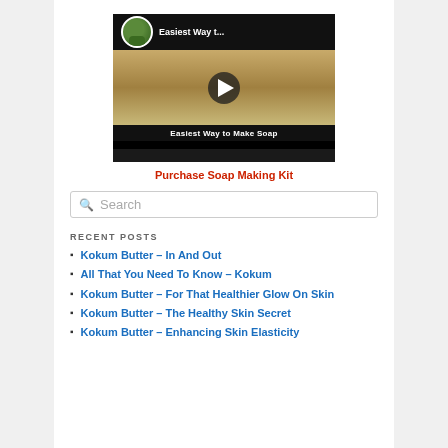[Figure (screenshot): YouTube video thumbnail showing 'Easiest Way to Make Soap' with play button overlay and channel avatar]
Purchase Soap Making Kit
Search
RECENT POSTS
Kokum Butter – In And Out
All That You Need To Know – Kokum
Kokum Butter – For That Healthier Glow On Skin
Kokum Butter – The Healthy Skin Secret
Kokum Butter – Enhancing Skin Elasticity